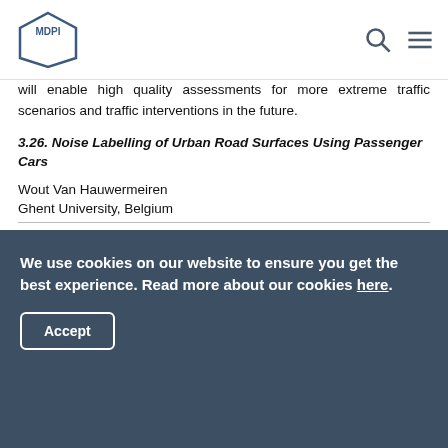MDPI
will enable high quality assessments for more extreme traffic scenarios and traffic interventions in the future.
3.26. Noise Labelling of Urban Road Surfaces Using Passenger Cars
Wout Van Hauwermeiren
Ghent University, Belgium
Road surface type but also degradation and wear contribute significantly to rolling noise emissions. As electrical and hybrid vehicles are being introduced, rolling noise remains and becomes a main factor in noise emission for lower-order roads.
We use cookies on our website to ensure you get the best experience. Read more about our cookies here.